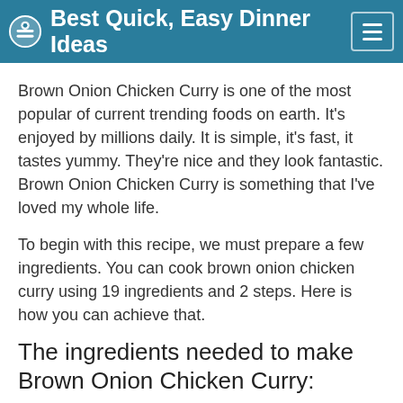Best Quick, Easy Dinner Ideas
Brown Onion Chicken Curry is one of the most popular of current trending foods on earth. It's enjoyed by millions daily. It is simple, it's fast, it tastes yummy. They're nice and they look fantastic. Brown Onion Chicken Curry is something that I've loved my whole life.
To begin with this recipe, we must prepare a few ingredients. You can cook brown onion chicken curry using 19 ingredients and 2 steps. Here is how you can achieve that.
The ingredients needed to make Brown Onion Chicken Curry:
Prepare 500 gms chicken curry cut pieces
Take 2 red onions thinly sliced
Take 4 tbs...